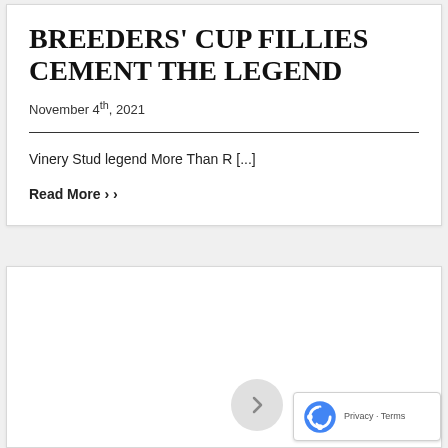BREEDERS' CUP FILLIES CEMENT THE LEGEND
November 4th, 2021
Vinery Stud legend More Than R [...]
Read More ›
[Figure (other): Second card area, mostly blank white with a reCAPTCHA badge in the bottom right corner]